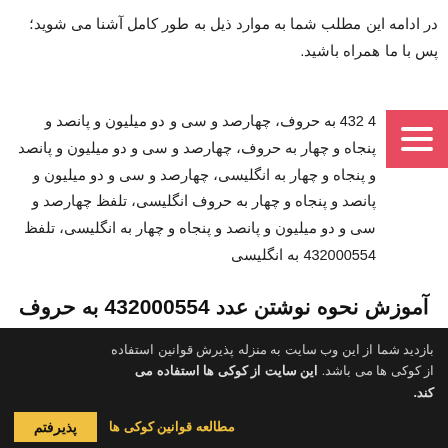در ادامه این مطلب شما به موارد ذیل به طور کامل آشنا می شوید؛ پس با ما همراه باشید.
4 432 به حروف، چهارصد و سی و دو میلیون و پانصد و پنجاه و چهار به حروف، چهارصد و سی و دو میلیون و پانصد و پنجاه و چهار به انگلیسی، چهارصد و سی و دو میلیون و پانصد و پنجاه و چهار به حروف انگلیسی، تلفظ چهارصد و سی و دو میلیون و پانصد و پنجاه و چهار به انگلیسی، تلفظ 432000554 به انگلیسی
آموزش نحوه نوشتن عدد 432000554 به حروف انگلیسی در جملات
بازدید شما از این وب سایت به منزله پذیرش قوانین استفاده از کوکی ها می باشد. این سایت از کوکی ها استفاده می کند.
مطالعه قوانین کوکی ها
پذیرفتم